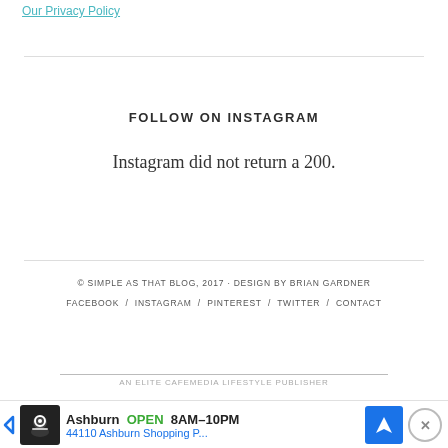Our Privacy Policy
FOLLOW ON INSTAGRAM
Instagram did not return a 200.
© SIMPLE AS THAT BLOG, 2017 · DESIGN BY BRIAN GARDNER
FACEBOOK / INSTAGRAM / PINTEREST / TWITTER / CONTACT
AN ELITE CAFEMEDIA LIFESTYLE PUBLISHER
[Figure (screenshot): Advertisement banner: Ashburn OPEN 8AM-10PM, 44110 Ashburn Shopping P... with navigation icon and close button]